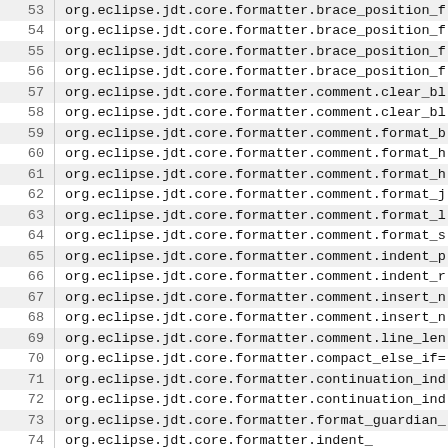| # | identifier |
| --- | --- |
| 53 | org.eclipse.jdt.core.formatter.brace_position_f… |
| 54 | org.eclipse.jdt.core.formatter.brace_position_f… |
| 55 | org.eclipse.jdt.core.formatter.brace_position_f… |
| 56 | org.eclipse.jdt.core.formatter.brace_position_f… |
| 57 | org.eclipse.jdt.core.formatter.comment.clear_bl… |
| 58 | org.eclipse.jdt.core.formatter.comment.clear_bl… |
| 59 | org.eclipse.jdt.core.formatter.comment.format_b… |
| 60 | org.eclipse.jdt.core.formatter.comment.format_h… |
| 61 | org.eclipse.jdt.core.formatter.comment.format_h… |
| 62 | org.eclipse.jdt.core.formatter.comment.format_j… |
| 63 | org.eclipse.jdt.core.formatter.comment.format_l… |
| 64 | org.eclipse.jdt.core.formatter.comment.format_s… |
| 65 | org.eclipse.jdt.core.formatter.comment.indent_p… |
| 66 | org.eclipse.jdt.core.formatter.comment.indent_r… |
| 67 | org.eclipse.jdt.core.formatter.comment.insert_n… |
| 68 | org.eclipse.jdt.core.formatter.comment.insert_n… |
| 69 | org.eclipse.jdt.core.formatter.comment.line_len… |
| 70 | org.eclipse.jdt.core.formatter.compact_else_if=… |
| 71 | org.eclipse.jdt.core.formatter.continuation_ind… |
| 72 | org.eclipse.jdt.core.formatter.continuation_ind… |
| 73 | org.eclipse.jdt.core.formatter.format_guardian_… |
| 74 | org.eclipse.jdt.core.formatter.indent_… |